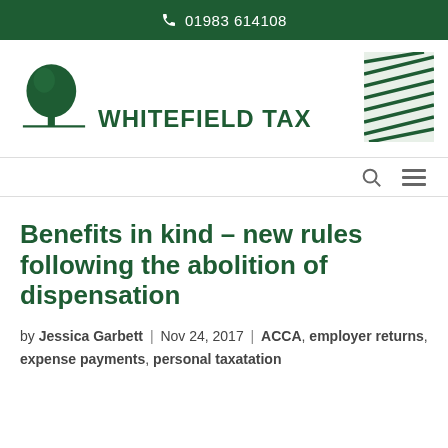01983 614108
[Figure (logo): Whitefield Tax logo with tree illustration and diagonal hatching graphic on the right]
Benefits in kind – new rules following the abolition of dispensation
by Jessica Garbett | Nov 24, 2017 | ACCA, employer returns, expense payments, personal taxatation